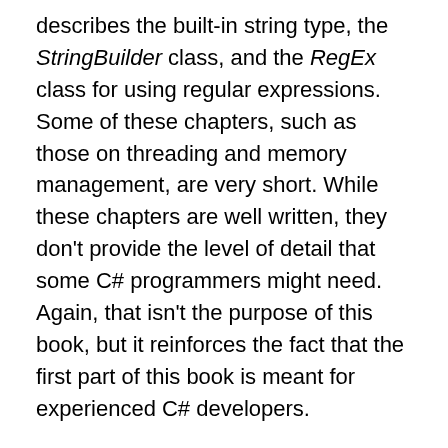describes the built-in string type, the StringBuilder class, and the RegEx class for using regular expressions. Some of these chapters, such as those on threading and memory management, are very short. While these chapters are well written, they don't provide the level of detail that some C# programmers might need. Again, that isn't the purpose of this book, but it reinforces the fact that the first part of this book is meant for experienced C# developers.
Just before the book dives into the quick reference section, you'll find a chapter on the command-line tools available in the Framework. This is an essential list for developers working with the